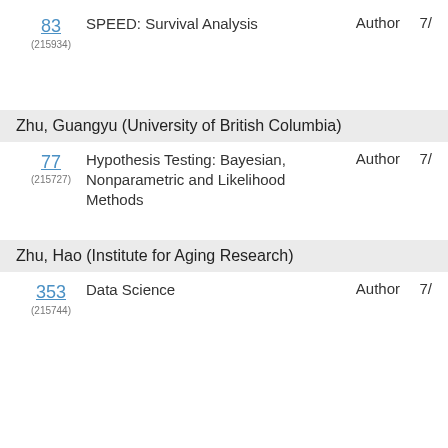83 (215934) SPEED: Survival Analysis Author 7/
Zhu, Guangyu (University of British Columbia)
77 (215727) Hypothesis Testing: Bayesian, Nonparametric and Likelihood Methods Author 7/
Zhu, Hao (Institute for Aging Research)
353 (215744) Data Science Author 7/